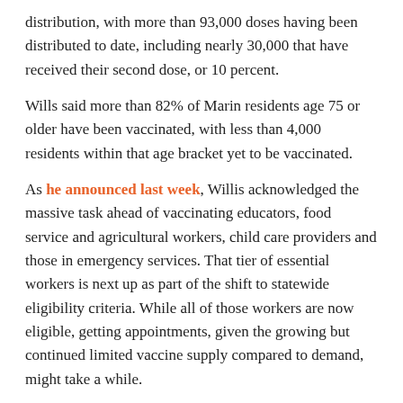distribution, with more than 93,000 doses having been distributed to date, including nearly 30,000 that have received their second dose, or 10 percent.
Wills said more than 82% of Marin residents age 75 or older have been vaccinated, with less than 4,000 residents within that age bracket yet to be vaccinated.
As he announced last week, Willis acknowledged the massive task ahead of vaccinating educators, food service and agricultural workers, child care providers and those in emergency services. That tier of essential workers is next up as part of the shift to statewide eligibility criteria. While all of those workers are now eligible, getting appointments, given the growing but continued limited vaccine supply compared to demand, might take a while.
Want to know what's happening around town? Click here to subscribe to the Enjoy Mill Valley Blog by Email!